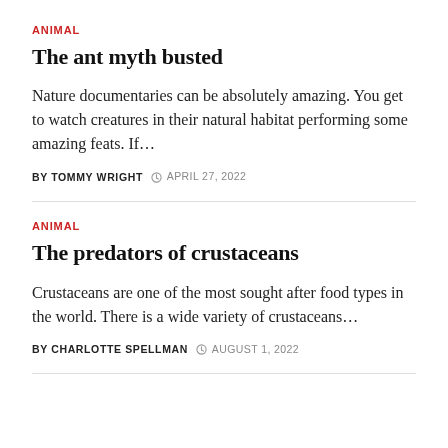ANIMAL
The ant myth busted
Nature documentaries can be absolutely amazing. You get to watch creatures in their natural habitat performing some amazing feats. If…
BY TOMMY WRIGHT  © APRIL 27, 2022
ANIMAL
The predators of crustaceans
Crustaceans are one of the most sought after food types in the world. There is a wide variety of crustaceans…
BY CHARLOTTE SPELLMAN  © AUGUST 1, 2022